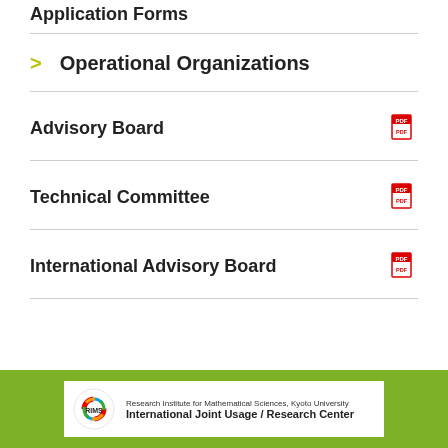Application Forms
> Operational Organizations
Advisory Board
Technical Committee
International Advisory Board
[Figure (logo): RIMS Research Institute for Mathematical Sciences, Kyoto University - International Joint Usage / Research Center logo and text]